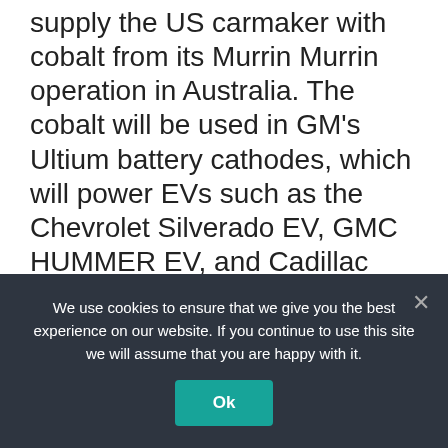supply the US carmaker with cobalt from its Murrin Murrin operation in Australia. The cobalt will be used in GM's Ultium battery cathodes, which will power EVs such as the Chevrolet Silverado EV, GMC HUMMER EV, and Cadillac LYRIQ. Glencore already has a long list of cobalt customers including Samsung SDI, SK On, Britishvolt and Tesla. Another upstream deal was announced by Ford. The US carmaker has signed a preliminary agreement to buy lithium from a Lake Resources NL facility in Argentina, marking the first time the automaker has
We use cookies to ensure that we give you the best experience on our website. If you continue to use this site we will assume that you are happy with it.
Ok